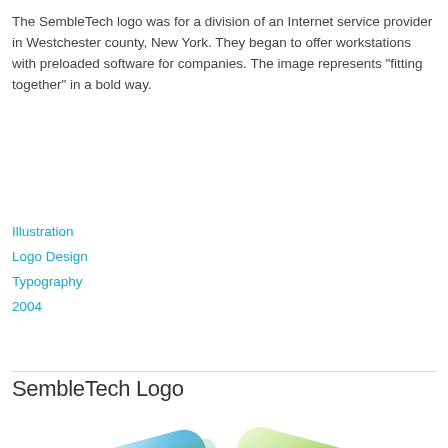The SembleTech logo was for a division of an Internet service provider in Westchester county, New York. They began to offer workstations with preloaded software for companies. The image represents "fitting together" in a bold way.
Illustration
Logo Design
Typography
2004
SembleTech Logo
[Figure (logo): SembleTech logo showing two overlapping rounded parallelogram shapes — one blue (left) and one green (right) — that interlock to represent fitting together.]